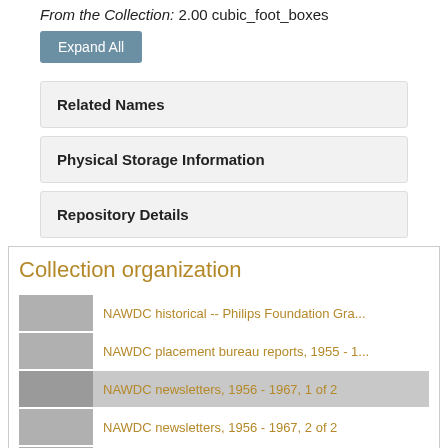From the Collection: 2.00 cubic_foot_boxes
Expand All
Related Names
Physical Storage Information
Repository Details
Collection organization
NAWDC historical -- Philips Foundation Gra...
NAWDC placement bureau reports, 1955 - 1...
NAWDC newsletters, 1956 - 1967, 1 of 2
NAWDC newsletters, 1956 - 1967, 2 of 2
NAWDC publications and printing costs, 196...